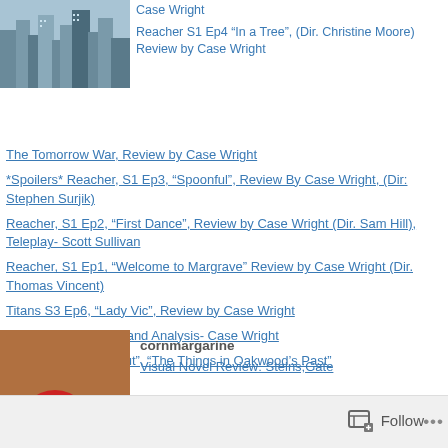[Figure (photo): City skyline photo thumbnail]
Case Wright
Reacher S1 Ep4 “In a Tree”, (Dir. Christine Moore) Review by Case Wright
The Tomorrow War, Review by Case Wright
*Spoilers* Reacher, S1 Ep3, “Spoonful”, Review By Case Wright, (Dir: Stephen Surjik)
Reacher, S1 Ep2, “First Dance”, Review by Case Wright (Dir. Sam Hill), Teleplay- Scott Sullivan
Reacher, S1 Ep1, “Welcome to Margrave” Review by Case Wright (Dir. Thomas Vincent)
Titans S3 Ep6, “Lady Vic”, Review by Case Wright
JRJR Gone, Review and Analysis- Case Wright
Creepshow, “Time Out”, “The Things in Oakwood’s Past”
[Figure (photo): Animated character with red helmet sitting at table]
cornmargarine
Visual Novel Review: Steins;Gate
Follow ...